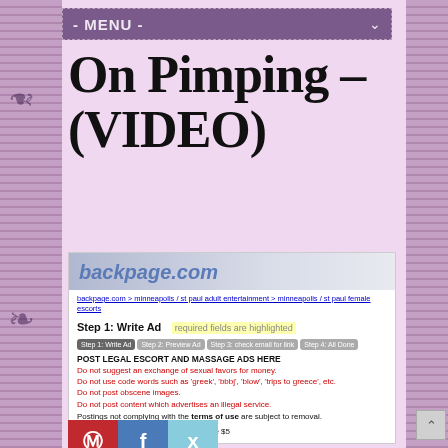- MENU -
On Pimping – (VIDEO)
[Figure (screenshot): Screenshot of backpage.com showing Step 1: Write Ad form for minneapolis/st paul female escorts category, with rules about posting legal escort and massage ads, prohibitions on code words and obscene images, and FYI that postings are $5]
[Figure (other): Social media share buttons: Pinterest (red), Facebook (blue), Twitter (light blue)]